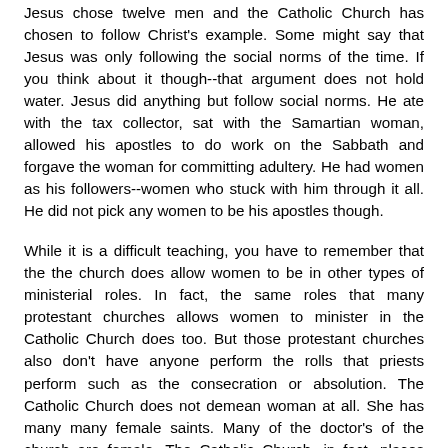Jesus chose twelve men and the Catholic Church has chosen to follow Christ's example. Some might say that Jesus was only following the social norms of the time. If you think about it though--that argument does not hold water. Jesus did anything but follow social norms. He ate with the tax collector, sat with the Samartian woman, allowed his apostles to do work on the Sabbath and forgave the woman for committing adultery. He had women as his followers--women who stuck with him through it all. He did not pick any women to be his apostles though.
While it is a difficult teaching, you have to remember that the the church does allow women to be in other types of ministerial roles. In fact, the same roles that many protestant churches allows women to minister in the Catholic Church does too. But those protestant churches also don't have anyone perform the rolls that priests perform such as the consecration or absolution. The Catholic Church does not demean woman at all. She has many many female saints. Many of the doctor's of the church are female. The Catholic Church, in fact, places Mary, a female, in very high regard. Catholics are even accused of worshipping Mary (which of course they don't).